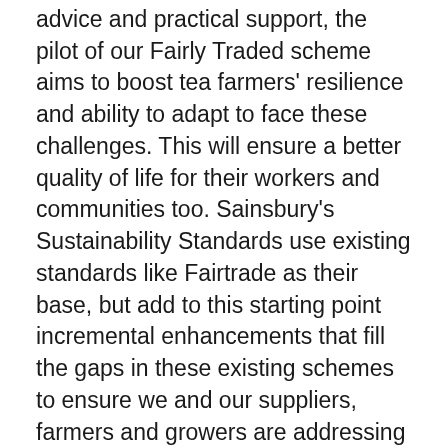advice and practical support, the pilot of our Fairly Traded scheme aims to boost tea farmers' resilience and ability to adapt to face these challenges. This will ensure a better quality of life for their workers and communities too. Sainsbury's Sustainability Standards use existing standards like Fairtrade as their base, but add to this starting point incremental enhancements that fill the gaps in these existing schemes to ensure we and our suppliers, farmers and growers are addressing all of the important Ethical, Economic and Environmental issues. I would like to confirm we are the biggest Fairtrade retailer in the world and will continue to be so. Even without tea, this is a pilot project on one product. The purpose of our Fairly Traded Tea pilot is to build upon the Fairtrade model and, by using our wider experience, offer our tea farmers more to empower them to build resilient businesses and communities. We will be monitoring this project...